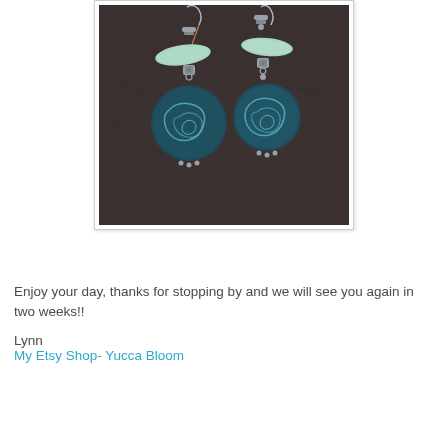[Figure (photo): Photo of a pair of handmade earrings featuring turquoise/mint elongated oval beads at the top and dark teal decorative round beads with swirl patterns at the bottom, hung on silver-tone hooks, photographed on a dark brown leather background.]
Enjoy your day, thanks for stopping by and we will see you again in two weeks!!
Lynn
My Etsy Shop- Yucca Bloom